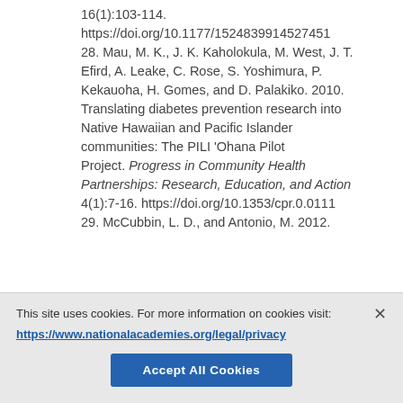16(1):103-114. https://doi.org/10.1177/1524839914527451 28. Mau, M. K., J. K. Kaholokula, M. West, J. T. Efird, A. Leake, C. Rose, S. Yoshimura, P. Kekauoha, H. Gomes, and D. Palakiko. 2010. Translating diabetes prevention research into Native Hawaiian and Pacific Islander communities: The PILI 'Ohana Pilot Project. Progress in Community Health Partnerships: Research, Education, and Action 4(1):7-16. https://doi.org/10.1353/cpr.0.0111 29. McCubbin, L. D., and Antonio, M. 2012.
This site uses cookies. For more information on cookies visit: https://www.nationalacademies.org/legal/privacy